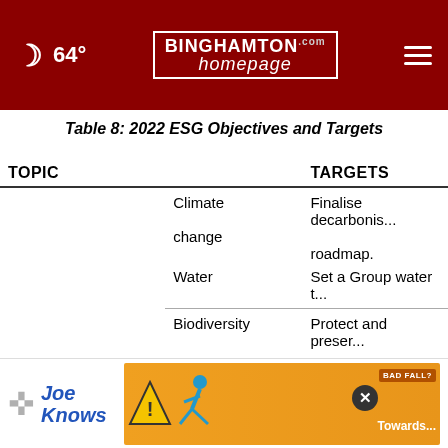64° Binghamton Homepage
Table 8: 2022 ESG Objectives and Targets
| TOPIC |  | TARGETS |
| --- | --- | --- |
|  | Climate change | Finalise decarbonisation roadmap. |
|  | Water | Set a Group water t... |
|  | Biodiversity | Protect and preserve across all of Endeav... |
| ENVIRONMENT |  | 10 hectares per min... for land and biodive... |
|  |  | Towards... |
|  |  | Eliminate singl... |
[Figure (advertisement): Joe Knows personal injury advertisement with slip-and-fall imagery and BAD FALL? badge]